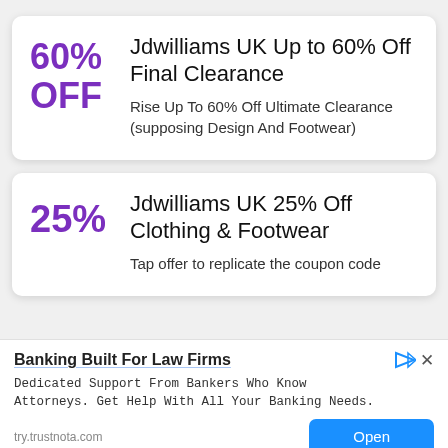Jdwilliams UK Up to 60% Off Final Clearance
Rise Up To 60% Off Ultimate Clearance (supposing Design And Footwear)
Jdwilliams UK 25% Off Clothing & Footwear
Tap offer to replicate the coupon code
[Figure (infographic): Advertisement banner: Banking Built For Law Firms. Dedicated Support From Bankers Who Know Attorneys. Get Help With All Your Banking Needs. try.trustnota.com with Open button.]